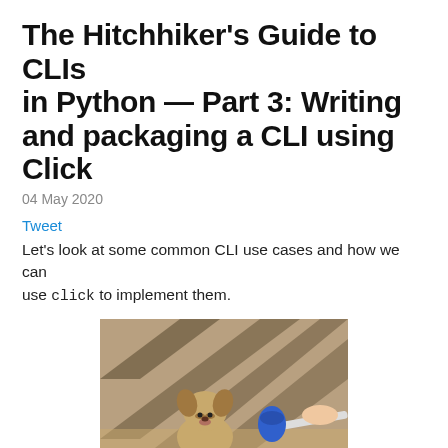The Hitchhiker's Guide to CLIs in Python – Part 3: Writing and packaging a CLI using Click
04 May 2020
Tweet
Let's look at some common CLI use cases and how we can use click to implement them.
[Figure (photo): A puppy sitting on sandy ground with a microphone held in front of it, captioned 'ok, so basically im very smol']